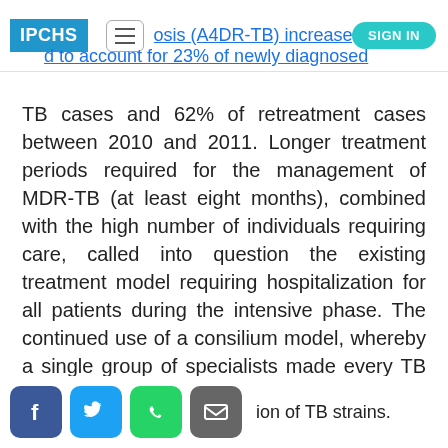IPCHS | (A4DR-TB) increased. MDR... to account for 23% of newly diagnosed
TB cases and 62% of retreatment cases between 2010 and 2011. Longer treatment periods required for the management of MDR-TB (at least eight months), combined with the high number of individuals requiring care, called into question the existing treatment model requiring hospitalization for all patients during the intensive phase. The continued use of a consilium model, whereby a single group of specialists made every TB treatment decision, caused further delays. Patients waiting for treatment risked transmitting the disease to the population and a lack of segregation between drug-sensitive and drug-resistant hospitalized patients
ion of TB strains.
[Facebook] [Twitter] [WhatsApp] [Email] ion of TB strains.